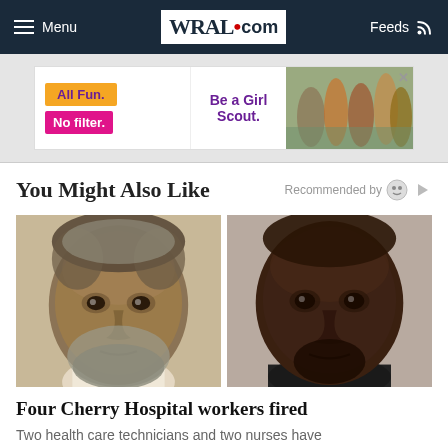WRAL.com — Menu | Feeds
[Figure (photo): Advertisement banner: Girl Scout ad with text 'All Fun. No filter. Be a Girl Scout.' with photo of girls]
You Might Also Like   Recommended by
[Figure (photo): Two mugshot photos side by side of men]
Four Cherry Hospital workers fired
Two health care technicians and two nurses have